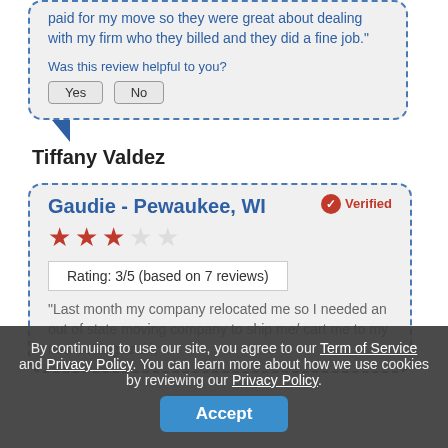paid for my move so they were great about dealing with my firm who they billed and they did a fine job."
Was this review helpful to you?
Tiffany Valdez
Gaudie - Pewaukee, WI
Verified
Rating: 3/5 (based on 7 reviews)
"Last month my company relocated me so I needed an out of state moving company to ship me/ cart me to my new setting and it
By continuing to use our site, you agree to our Term of Service and Privacy Policy. You can learn more about how we use cookies by reviewing our Privacy Policy.